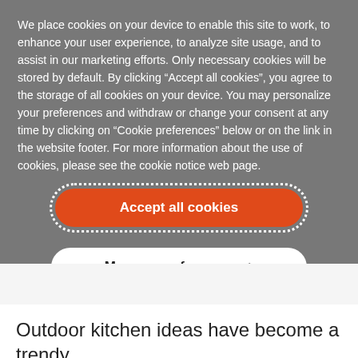We place cookies on your device to enable this site to work, to enhance your user experience, to analyze site usage, and to assist in our marketing efforts. Only necessary cookies will be stored by default. By clicking “Accept all cookies”, you agree to the storage of all cookies on your device. You may personalize your preferences and withdraw or change your consent at any time by clicking on “Cookie preferences” below or on the link in the website footer. For more information about the use of cookies, please see the cookie notice web page.
[Figure (other): Orange rounded button labeled 'Accept all cookies' with white dotted border outline]
[Figure (other): White rounded button labeled 'Manage preferences +']
Outdoor kitchen ideas have become a trendy